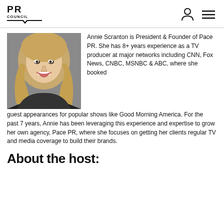PR COUNCIL
[Figure (photo): Headshot of Annie Scranton, a smiling woman with blonde hair wearing a dark top, professional portrait against a grey background.]
Annie Scranton is President & Founder of Pace PR. She has 8+ years experience as a TV producer at major networks including CNN, Fox News, CNBC, MSNBC & ABC, where she booked guest appearances for popular shows like Good Morning America. For the past 7 years, Annie has been leveraging this experience and expertise to grow her own agency, Pace PR, where she focuses on getting her clients regular TV and media coverage to build their brands.
About the host: